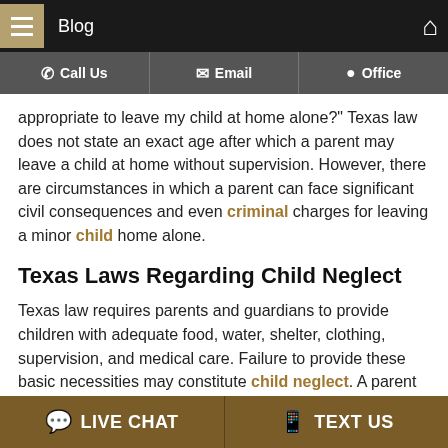Blog
appropriate to leave my child at home alone?" Texas law does not state an exact age after which a parent may leave a child at home without supervision. However, there are circumstances in which a parent can face significant civil consequences and even criminal charges for leaving a minor child home alone.
Texas Laws Regarding Child Neglect
Texas law requires parents and guardians to provide children with adequate food, water, shelter, clothing, supervision, and medical care. Failure to provide these basic necessities may constitute child neglect. A parent may also be accused of neglect if he or she allows a child to be in an unsafe situation that exposes the child to a significant risk of physical or
LIVE CHAT   TEXT US